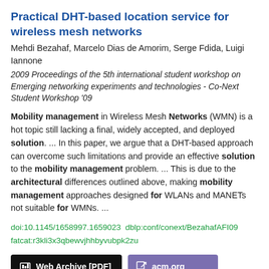Practical DHT-based location service for wireless mesh networks
Mehdi Bezahaf, Marcelo Dias de Amorim, Serge Fdida, Luigi Iannone
2009 Proceedings of the 5th international student workshop on Emerging networking experiments and technologies - Co-Next Student Workshop '09
Mobility management in Wireless Mesh Networks (WMN) is a hot topic still lacking a final, widely accepted, and deployed solution.  ...  In this paper, we argue that a DHT-based approach can overcome such limitations and provide an effective solution to the mobility management problem.  ...  This is due to the architectural differences outlined above, making mobility management approaches designed for WLANs and MANETs not suitable for WMNs.  ...
doi:10.1145/1658997.1659023  dblp:conf/conext/BezahafAFI09 fatcat:r3kli3x3qbewvjhhbyvubpk2zu
Web Archive [PDF]   acm.org